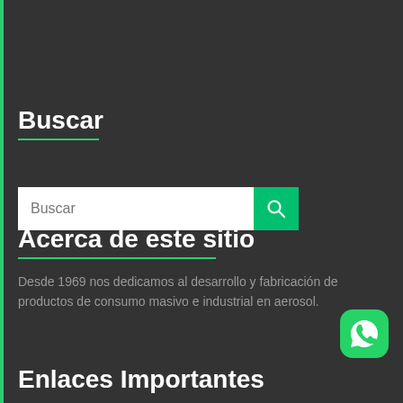Buscar
[Figure (screenshot): Search input box with white text field labeled 'Buscar' and a green search button with magnifying glass icon]
Acerca de este sitio
Desde 1969 nos dedicamos al desarrollo y fabricación de productos de consumo masivo e industrial en aerosol.
Enlaces Importantes
[Figure (logo): WhatsApp button icon, green rounded square with white phone/chat icon]